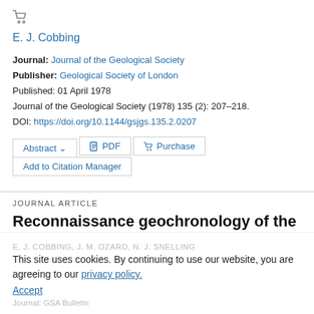[Figure (other): Shopping cart icon]
E. J. Cobbing
Journal: Journal of the Geological Society
Publisher: Geological Society of London
Published: 01 April 1978
Journal of the Geological Society (1978) 135 (2): 207–218.
DOI: https://doi.org/10.1144/gsjgs.135.2.0207
Abstract ∨   PDF   Purchase   Add to Citation Manager
JOURNAL ARTICLE
Reconnaissance geochronology of the crystalline basement rocks of the Coastal
Cordillera of southern Peru
E. J. COBBING, J. M. OZARD, N. J. SNELLING
Journal: GSA Bulletin
This site uses cookies. By continuing to use our website, you are agreeing to our privacy policy. Accept